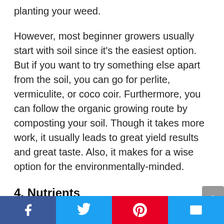planting your weed.
However, most beginner growers usually start with soil since it's the easiest option. But if you want to try something else apart from the soil, you can go for perlite, vermiculite, or coco coir. Furthermore, you can follow the organic growing route by composting your soil. Though it takes more work, it usually leads to great yield results and great taste. Also, it makes for a wise option for the environmentally-minded.
4. Nutrients
Unless you're using a kind of soil that has a
Facebook | Twitter | Pinterest | Email